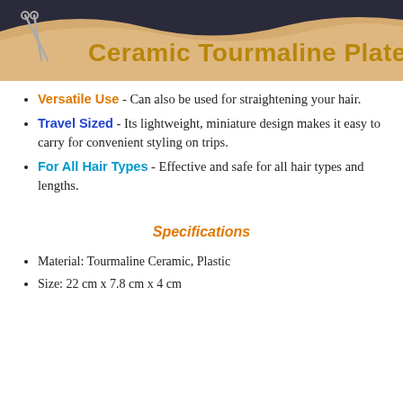[Figure (photo): Header image showing hair styling tools with a decorative wave background (tan/peach and dark blue) and the title 'Ceramic Tourmaline Plates' in gold/dark yellow bold text on the right side.]
Versatile Use - Can also be used for straightening your hair.
Travel Sized - Its lightweight, miniature design makes it easy to carry for convenient styling on trips.
For All Hair Types - Effective and safe for all hair types and lengths.
Specifications
Material: Tourmaline Ceramic, Plastic
Size: 22 cm x 7.8 cm x 4 cm